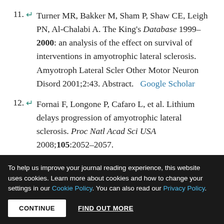11. ↵ Turner MR, Bakker M, Sham P, Shaw CE, Leigh PN, Al-Chalabi A. The King's Database 1999–2000: an analysis of the effect on survival of interventions in amyotrophic lateral sclerosis. Amyotroph Lateral Scler Other Motor Neuron Disord 2001;2:43. Abstract.   Google Scholar
12. ↵ Fornai F, Longone P, Cafaro L, et al. Lithium delays progression of amyotrophic lateral sclerosis. Proc Natl Acad Sci USA 2008;105:2052–2057. Abstract/FREE Full Text   Google Scholar
To help us improve your journal reading experience, this website uses cookies. Learn more about cookies and how to change your settings in our Cookie Policy. You can also read our Privacy Policy.